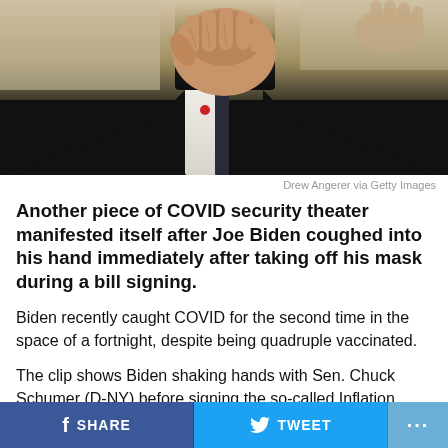[Figure (photo): Close-up photo of a person in a dark suit coughing into their hand, with a partial view of other hands in the background.]
Drew Angerer via Getty Images
Another piece of COVID security theater manifested itself after Joe Biden coughed into his hand immediately after taking off his mask during a bill signing.
Biden recently caught COVID for the second time in the space of a fortnight, despite being quadruple vaccinated.
The clip shows Biden shaking hands with Sen. Chuck Schumer (D-NY) before signing the so-called Inflation Reduction Act.
He rar immediately after removing his from signing
f SHARE   TWEET   ...